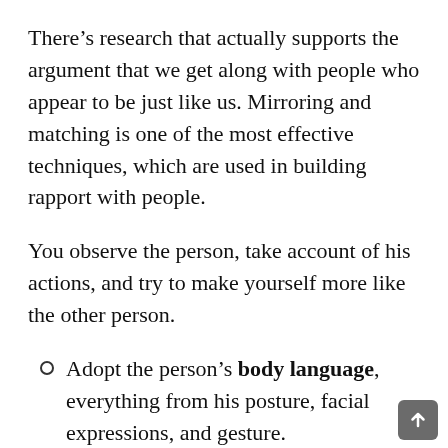There’s research that actually supports the argument that we get along with people who appear to be just like us. Mirroring and matching is one of the most effective techniques, which are used in building rapport with people.
You observe the person, take account of his actions, and try to make yourself more like the other person.
Adopt the person’s body language, everything from his posture, facial expressions, and gesture.
Adopt the same behavior, if a person is introverted, and is not comfortable opening